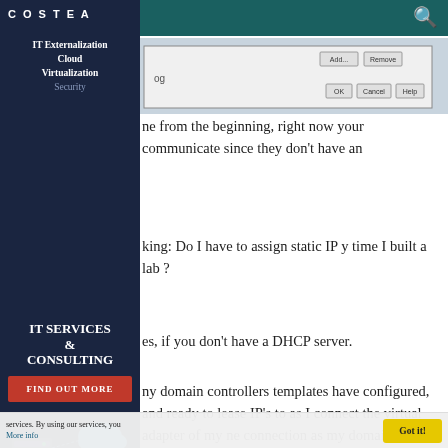COSTEA — IT Externalization, Cloud, Virtualization, Security
[Figure (screenshot): Windows dialog box showing Add/Remove buttons and OK/Cancel/Help buttons]
ne from the beginning, right now your communicate since they don't have an
king: Do I have to assign static IP y time I built a lab ?
es, if you don't have a DHCP server.
ny domain controllers templates have configured, and ready to lease IP's to as I connect the virtual adapter of my ne connection as my domain controller at an IP address from the DHCP server
[Figure (illustration): IT services sidebar advertisement with server and cloud illustration. Shows IT SERVICES & CONSULTING text and FIND OUT MORE red button.]
services. By using our services, you More info
Got it!